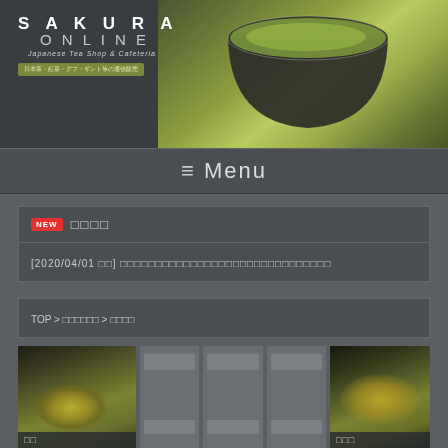[Figure (photo): Sakura Online Japanese Tea Shop & Cafeteria header banner with logo and green tea cup photo]
≡  Menu
NEW  □□□□
[2020/04/01 □□] □□□□□□□□□□□□□□□□□□□□□□□□□□□□□□
TOP > □□□□□□ > □□□□
[Figure (photo): Product image gallery showing tea bowls/cups with labels]
□□□□□□ (□□□□□□□)
□□□□□□□□□□□□□□□□□□□□□□□□□□□□□□□□□□□□□□□□□□□□□□□□□□□□□□□□□□□□□□□□□□□□□□□□□□□□□□□□□□□□□□□□□□□□□□□□□□□□□□□□□□□□□□□□□□□□□□□□□□□□□□□□□□□□□□□□□